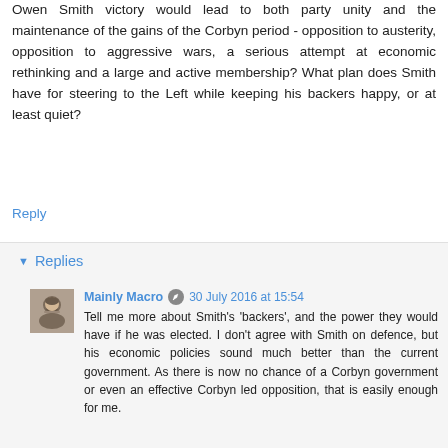Owen Smith victory would lead to both party unity and the maintenance of the gains of the Corbyn period - opposition to austerity, opposition to aggressive wars, a serious attempt at economic rethinking and a large and active membership? What plan does Smith have for steering to the Left while keeping his backers happy, or at least quiet?
Reply
Replies
Mainly Macro 30 July 2016 at 15:54
Tell me more about Smith's 'backers', and the power they would have if he was elected. I don't agree with Smith on defence, but his economic policies sound much better than the current government. As there is now no chance of a Corbyn government or even an effective Corbyn led opposition, that is easily enough for me.
Phil 30 July 2016 at 15:57